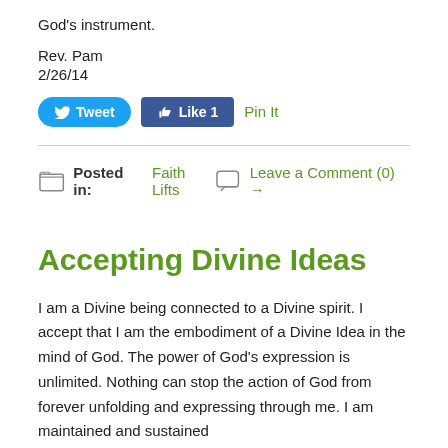God's instrument.
Rev. Pam
2/26/14
[Figure (infographic): Social sharing buttons: Tweet (Twitter), Like 1 (Facebook), Pin It (Pinterest)]
Posted in: Faith Lifts    Leave a Comment (0) →
Accepting Divine Ideas
I am a Divine being connected to a Divine spirit. I accept that I am the embodiment of a Divine Idea in the mind of God. The power of God's expression is unlimited. Nothing can stop the action of God from forever unfolding and expressing through me. I am maintained and sustained